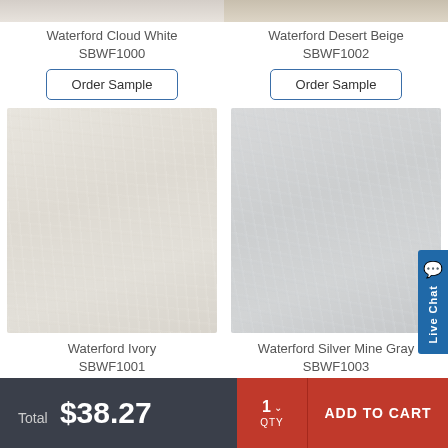[Figure (photo): Partial top image of Waterford Cloud White fabric swatch]
[Figure (photo): Partial top image of Waterford Desert Beige fabric swatch]
Waterford Cloud White
SBWF1000
Order Sample
Waterford Desert Beige
SBWF1002
Order Sample
[Figure (photo): Waterford Ivory fabric swatch - off-white textured woven fabric]
[Figure (photo): Waterford Silver Mine Gray fabric swatch - light gray textured woven fabric]
Waterford Ivory
SBWF1001
Order Sample
Waterford Silver Mine Gray
SBWF1003
Order Sample
Total $38.27
1 QTY
ADD TO CART